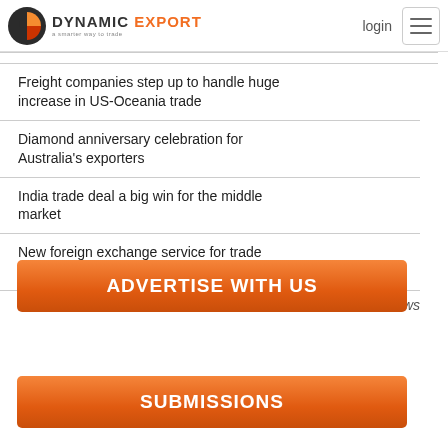DYNAMIC EXPORT — a smarter way to trade | login
Freight companies step up to handle huge increase in US-Oceania trade
Diamond anniversary celebration for Australia's exporters
India trade deal a big win for the middle market
New foreign exchange service for trade and logistics businesses
more news
[Figure (other): Orange button: ADVERTISE WITH US]
[Figure (other): Orange button: SUBMISSIONS]